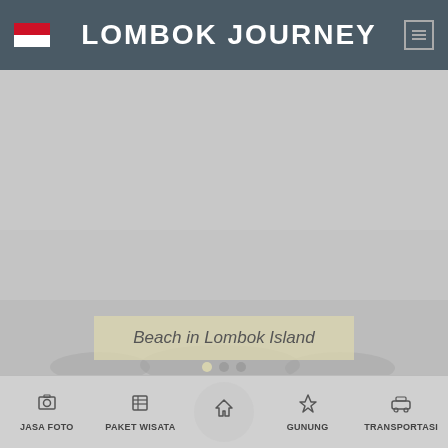LOMBOK JOURNEY
[Figure (photo): Main hero image area showing a beach or landscape scene in Lombok Island, rendered as a large gray placeholder image]
Beach in Lombok Island
JASA FOTO | PAKET WISATA | (home) | GUNUNG | TRANSPORTASI